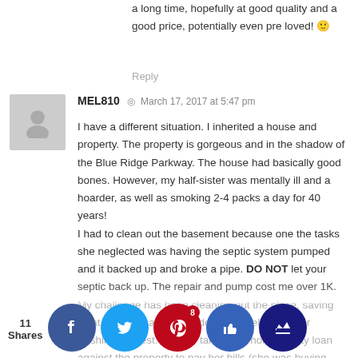a long time, hopefully at good quality and a good price, potentially even pre loved! 🙂
Reply
MEL810  ◎  March 17, 2017 at 5:47 pm
I have a different situation. I inherited a house and property. The property is gorgeous and in the shadow of the Blue Ridge Parkway. The house had basically good bones. However, my half-sister was mentally ill and a hoarder, as well as smoking 2-4 packs a day for 40 years!
I had to clean out the basement because one the tasks she neglected was having the septic system pumped and it backed up and broke a pipe. DO NOT let your septic back up. The repair and pump cost me over 1K.
My challenge has been cleaning out the place, saving what is worth saving and donating, selling and/or trashing the rest. I had to take out a home equity loan against the property to pay her bills (she was buying stuff to hoard rather than paying her medical and funeral bills) and to do some renovations and painting. Massive cleaning is needed in the house. Between the furniture that was there and the furniture we already own...